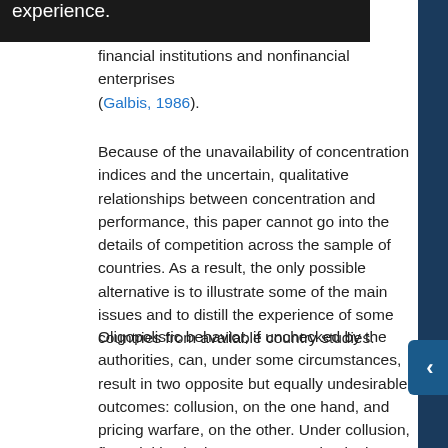owned experience. financial institutions and nonfinancial enterprises (Galbis, 1986).
Because of the unavailability of concentration indices and the uncertain, qualitative relationships between concentration and performance, this paper cannot go into the details of competition across the sample of countries. As a result, the only possible alternative is to illustrate some of the main issues and to distill the experience of some countries from available country studies.
Oligopolistic behavior, if unchecked by the authorities, can, under some circumstances, result in two opposite but equally undesirable outcomes: collusion, on the one hand, and pricing warfare, on the other. Under collusion, financial institutions agree to maintain the status quo, with a structure of low deposit interest rates (in relation to inflation) but large spreads between loan and deposit rates. This outcome is the more likely in countries with a powerful bankers' association, coupled with a weak bank supervisory